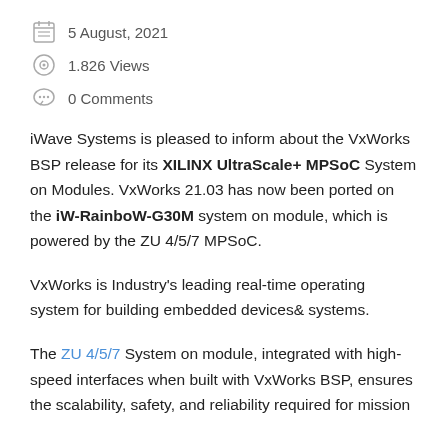5 August, 2021
1,826 Views
0 Comments
iWave Systems is pleased to inform about the VxWorks BSP release for its XILINX UltraScale+ MPSoC System on Modules. VxWorks 21.03 has now been ported on the iW-RainboW-G30M system on module, which is powered by the ZU 4/5/7 MPSoC.
VxWorks is Industry's leading real-time operating system for building embedded devices& systems.
The ZU 4/5/7 System on module, integrated with high-speed interfaces when built with VxWorks BSP, ensures the scalability, safety, and reliability required for mission